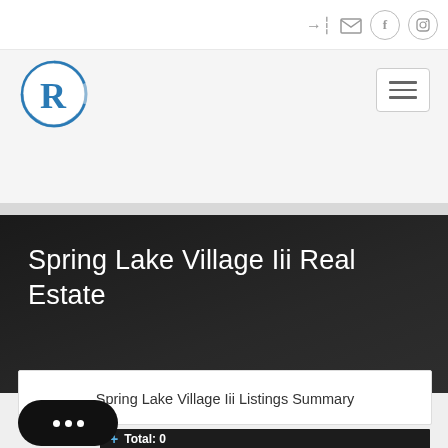Navigation icons: login, mail, facebook, instagram
[Figure (logo): Circular logo with letter R in blue with crescent swoosh]
[Figure (other): Hamburger menu button icon with three horizontal lines]
Spring Lake Village Iii Real Estate
Spring Lake Village Iii Listings Summary
Total: 0